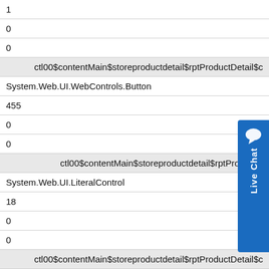| 1 |
| 0 |
| 0 |
| ctl00$contentMain$storeproductdetail$rptProductDetail$c... |
| System.Web.UI.WebControls.Button |
| 455 |
| 0 |
| 0 |
| ctl00$contentMain$storeproductdetail$rptProductD... |
| System.Web.UI.LiteralControl |
| 18 |
| 0 |
| 0 |
| ctl00$contentMain$storeproductdetail$rptProductDetail$c... |
| AjaxControlToolkit.ModalPopupExtender |
| 0 |